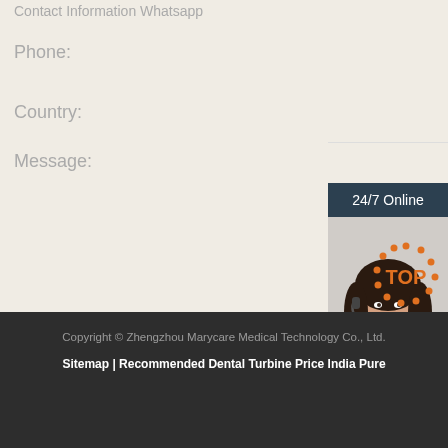Contact Information Whatsapp
Phone:
Country:
Message:
[Figure (photo): Customer service representative woman wearing headset, with '24/7 Online' banner and 'Click here for free chat!' text and QUOTATION button]
Submit Now
Copyright © Zhengzhou Marycare Medical Technology Co., Ltd.
Sitemap | Recommended Dental Turbine Price India Pure